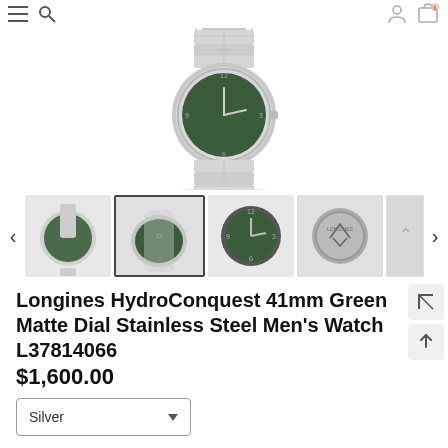[Figure (photo): Longines HydroConquest 41mm watch with green dial and silver stainless steel bracelet, shown from above — main product image]
[Figure (photo): Thumbnail 1: Full watch side view with silver bracelet and green dial]
[Figure (photo): Thumbnail 2: Angled front view of watch with green dial on bracelet]
[Figure (photo): Thumbnail 3: Close-up of green dial face with bezel]
[Figure (photo): Thumbnail 4: Case back view with Longines engraving]
Longines HydroConquest 41mm Green Matte Dial Stainless Steel Men's Watch L37814066
$1,600.00
Silver